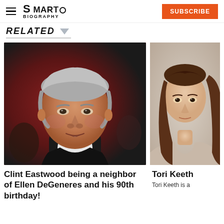Smart Biography | SUBSCRIBE
RELATED
[Figure (photo): Photo of Clint Eastwood, elderly man with gray hair wearing a black tuxedo and dark green bow tie, close-up portrait, red/dark background]
Clint Eastwood being a neighbor of Ellen DeGeneres and his 90th birthday!
[Figure (photo): Photo of Tori Keeth, woman with long straight brown hair, light background, partial view]
Tori Keeth is a